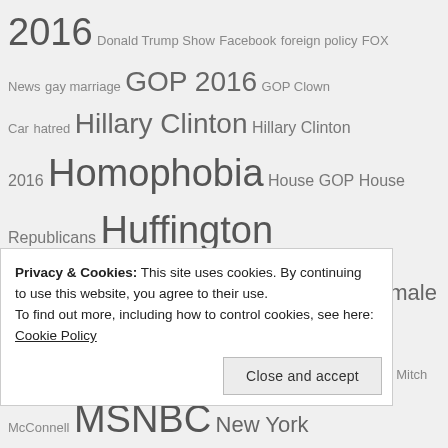2016 Donald Trump Show Facebook foreign policy FOX News gay marriage GOP 2016 GOP Clown Car hatred Hillary Clinton Hillary Clinton 2016 Homophobia House GOP House Republicans Huffington Post ISIS/ISIL Jeb Bush John Boehner Kentucky male chauvinism male supremacism Marco Rubio marriage equality misogyny Mitch McConnell MSNBC New York Times Obamacare Politico potsherds (political) PPACA racism Rand Paul religious supremacism Reuters Roll Call Salon same sex marriage Senate GOP Senate Republicans Speaker of the House Steve Benen Ted Cruz Ted Cruz 2016 The Hill The New York Times The Washington Post
Privacy & Cookies: This site uses cookies. By continuing to use this website, you agree to their use.
To find out more, including how to control cookies, see here: Cookie Policy
Close and accept